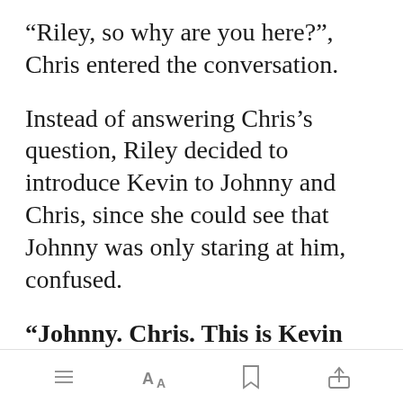“Riley, so why are you here?”, Chris entered the conversation.
Instead of answering Chris’s question, Riley decided to introduce Kevin to Johnny and Chris, since she could see that Johnny was only staring at him, confused.
“Johnny. Chris. This is Kevin Grant. Kevin, [Open in app] Chris, our
Open in app | toolbar icons